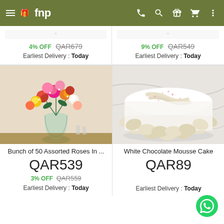fnp
4% OFF  QAR679
Earliest Delivery : Today
9% OFF  QAR549
Earliest Delivery : Today
[Figure (photo): Bunch of 50 assorted roses in a tall glass vase with yellow, red, pink, orange, white roses and baby's breath, placed on a wooden table]
[Figure (photo): White Chocolate Mousse Cake - a round white frosted cake decorated with white chocolate shavings and pink sprinkles, on a marble surface]
Bunch of 50 Assorted Roses In ...
QAR539
3% OFF  QAR559
Earliest Delivery : Today
White Chocolate Mousse Cake
QAR89
Earliest Delivery : Today